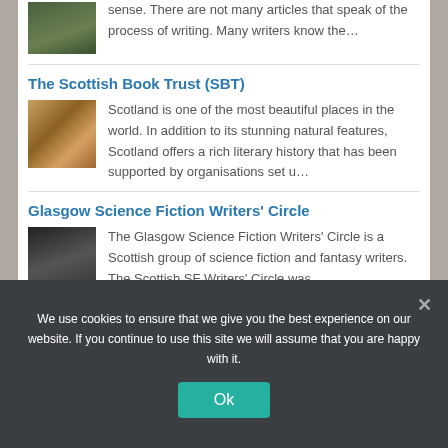sense. There are not many articles that speak of the process of writing. Many writers know the…
The Scottish Book Trust (SBT)
[Figure (photo): Stack of books photo]
Scotland is one of the most beautiful places in the world. In addition to its stunning natural features, Scotland offers a rich literary history that has been supported by organisations set u…
Glasgow Science Fiction Writers' Circle
[Figure (photo): Person typing on a phone or writing]
The Glasgow Science Fiction Writers' Circle is a Scottish group of science fiction and fantasy writers. The Scottish SF Writers' Circle was
We use cookies to ensure that we give you the best experience on our website. If you continue to use this site we will assume that you are happy with it.